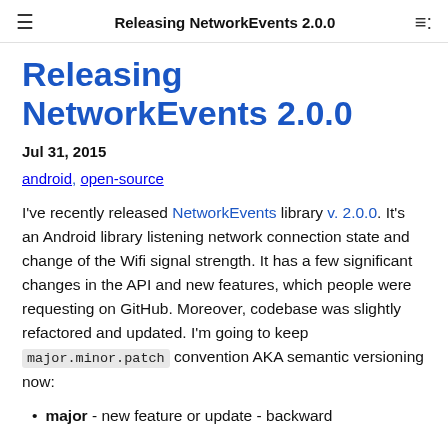Releasing NetworkEvents 2.0.0
Releasing NetworkEvents 2.0.0
Jul 31, 2015
android, open-source
I've recently released NetworkEvents library v. 2.0.0. It's an Android library listening network connection state and change of the Wifi signal strength. It has a few significant changes in the API and new features, which people were requesting on GitHub. Moreover, codebase was slightly refactored and updated. I'm going to keep major.minor.patch convention AKA semantic versioning now:
major - new feature or update - backward